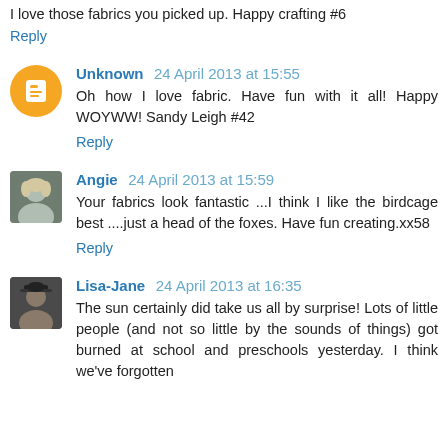I love those fabrics you picked up. Happy crafting #6
Reply
Unknown 24 April 2013 at 15:55
Oh how I love fabric. Have fun with it all! Happy WOYWW! Sandy Leigh #42
Reply
Angie 24 April 2013 at 15:59
Your fabrics look fantastic ...I think I like the birdcage best ....just a head of the foxes. Have fun creating.xx58
Reply
Lisa-Jane 24 April 2013 at 16:35
The sun certainly did take us all by surprise! Lots of little people (and not so little by the sounds of things) got burned at school and preschools yesterday. I think we've forgotten